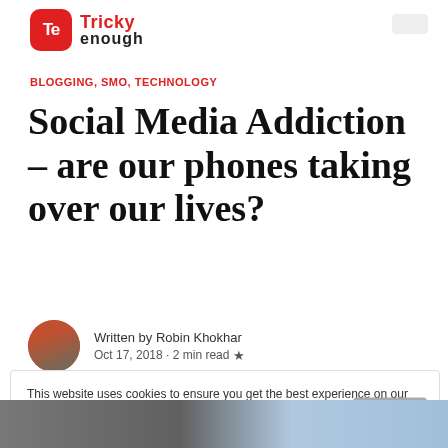Tricky enough
BLOGGING, SMO, TECHNOLOGY
Social Media Addiction – are our phones taking over our lives?
Written by Robin Khokhar
Oct 17, 2018 · 2 min read ★
This website uses cookies to ensure you get the best experience on our website. Learn more Got it!
[Figure (photo): Bottom strip showing blurred photo of devices/screens]